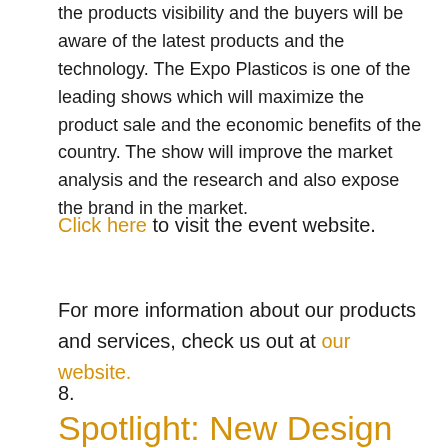the products visibility and the buyers will be aware of the latest products and the technology. The Expo Plasticos is one of the leading shows which will maximize the product sale and the economic benefits of the country. The show will improve the market analysis and the research and also expose the brand in the market.
Click here to visit the event website.
For more information about our products and services, check us out at our website.
8.
Spotlight: New Design for the PE Series Powder